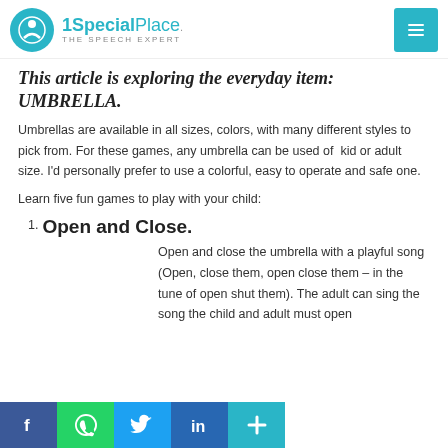1SpecialPlace. THE SPEECH EXPERT
This article is exploring the everyday item: UMBRELLA.
Umbrellas are available in all sizes, colors, with many different styles to pick from. For these games, any umbrella can be used of  kid or adult size. I'd personally prefer to use a colorful, easy to operate and safe one.
Learn five fun games to play with your child:
Open and Close.
Open and close the umbrella with a playful song (Open, close them, open close them – in the tune of open shut them). The adult can sing the song the child and adult must open